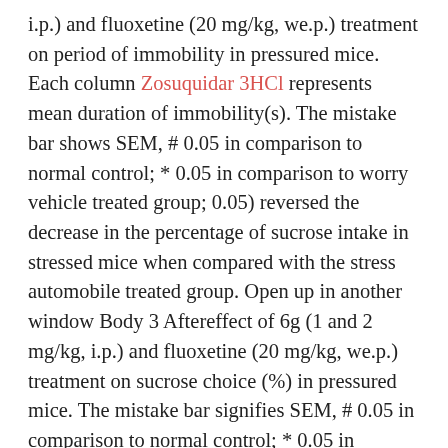i.p.) and fluoxetine (20 mg/kg, we.p.) treatment on period of immobility in pressured mice. Each column Zosuquidar 3HCl represents mean duration of immobility(s). The mistake bar shows SEM, # 0.05 in comparison to normal control; * 0.05 in comparison to worry vehicle treated group; 0.05) reversed the decrease in the percentage of sucrose intake in stressed mice when compared with the stress automobile treated group. Open up in another window Body 3 Aftereffect of 6g (1 and 2 mg/kg, i.p.) and fluoxetine (20 mg/kg, we.p.) treatment on sucrose choice (%) in pressured mice. The mistake bar signifies SEM, # 0.05 in comparison to normal control; * 0.05 in comparison to worry vehicle treated group; 0.05) decrease in TBARS levels in the mind of stressed mice when compared with stress vehicle treated group. Furthermore, fluoxetine (20mg/kg, i.p.) treatment also considerably decreased